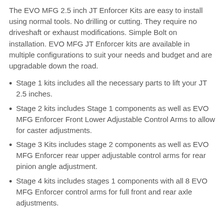The EVO MFG 2.5 inch JT Enforcer Kits are easy to install using normal tools. No drilling or cutting. They require no driveshaft or exhaust modifications. Simple Bolt on installation. EVO MFG JT Enforcer kits are available in multiple configurations to suit your needs and budget and are upgradable down the road.
Stage 1 kits includes all the necessary parts to lift your JT 2.5 inches.
Stage 2 kits includes Stage 1 components as well as EVO MFG Enforcer Front Lower Adjustable Control Arms to allow for caster adjustments.
Stage 3 Kits includes stage 2 components as well as EVO MFG Enforcer rear upper adjustable control arms for rear pinion angle adjustment.
Stage 4 kits includes stages 1 components with all 8 EVO MFG Enforcer control arms for full front and rear axle adjustments.